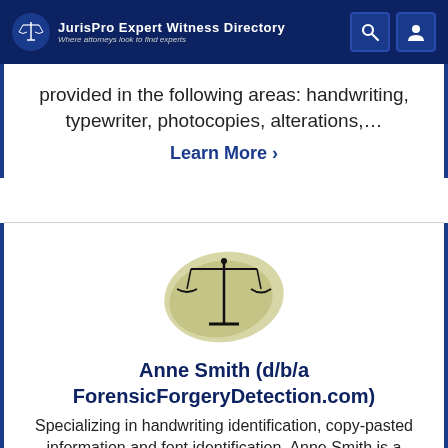JurisPro Expert Witness Directory — Where attorneys look to find experts
provided in the following areas: handwriting, typewriter, photocopies, alterations,...
Learn More ›
[Figure (logo): Scales of justice logo with olive/khaki brush stroke background for Anne Smith ForensicForgeryDetection.com profile]
Anne Smith (d/b/a ForensicForgeryDetection.com)
Specializing in handwriting identification, copy-pasted information and font identification. Anne Smith is a court-qualified, proficiency-tested Forensic Document Examiner. With over 45 years experience and a Richmond, VA office...